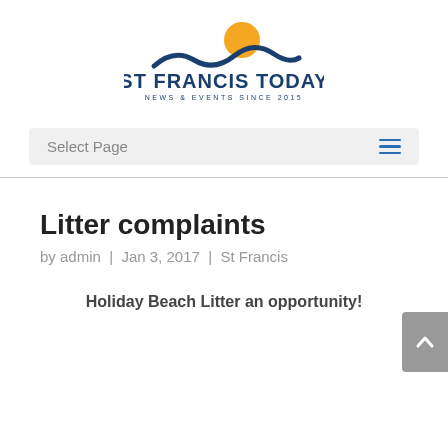[Figure (logo): St Francis Today logo with wave and sun graphic above text 'ST FRANCIS TODAY' and subtitle 'NEWS & EVENTS SINCE 2015']
Select Page
Litter complaints
by admin | Jan 3, 2017 | St Francis
Holiday Beach Litter an opportunity!